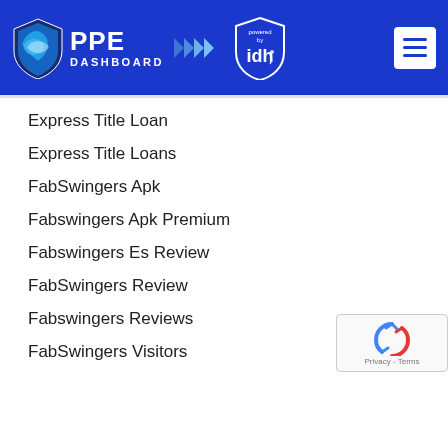PPE DASHBOARD powered by idh
Express Title Loan
Express Title Loans
FabSwingers Apk
Fabswingers Apk Premium
Fabswingers Es Review
FabSwingers Review
Fabswingers Reviews
FabSwingers Visitors